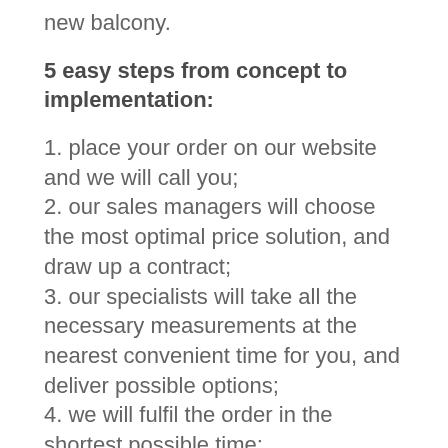new balcony.
5 easy steps from concept to implementation:
1. place your order on our website and we will call you;
2. our sales managers will choose the most optimal price solution, and draw up a contract;
3. our specialists will take all the necessary measurements at the nearest convenient time for you, and deliver possible options;
4. we will fulfil the order in the shortest possible time;
5. UniPro professionals do the final installation, and you have a high-quality turnkey balcony just for you.